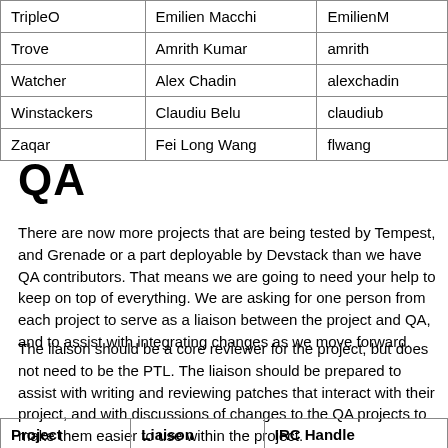| Project | Liaison | IRC Handle |
| --- | --- | --- |
| TripleO | Emilien Macchi | EmilienM |
| Trove | Amrith Kumar | amrith |
| Watcher | Alex Chadin | alexchadin |
| Winstackers | Claudiu Belu | claudiub |
| Zaqar | Fei Long Wang | flwang |
QA
There are now more projects that are being tested by Tempest, and Grenade or a part deployable by Devstack than we have QA contributors. That means we are going to need your help to keep on top of everything. We are asking for one person from each project to serve as a liaison between the project and QA, and to assist with integrating changes as we move forward.
The liaison should be a core reviewer for the project, but does not need to be the PTL. The liaison should be prepared to assist with writing and reviewing patches that interact with their project, and with discussions of changes to the QA projects to make them easier to use within the project.
| Project | Liaison | IRC Handle |
| --- | --- | --- |